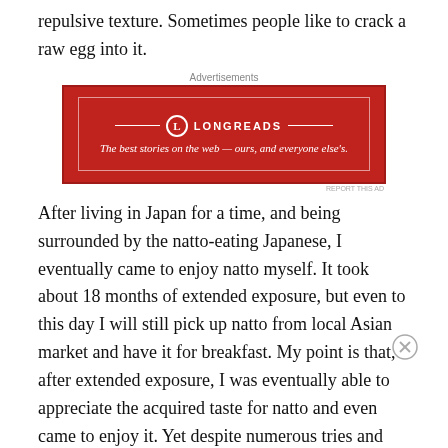repulsive texture. Sometimes people like to crack a raw egg into it.
[Figure (other): Longreads advertisement banner: red background with white border, Longreads logo and tagline 'The best stories on the web — ours, and everyone else's.']
After living in Japan for a time, and being surrounded by the natto-eating Japanese, I eventually came to enjoy natto myself. It took about 18 months of extended exposure, but even to this day I will still pick up natto from local Asian market and have it for breakfast. My point is that, after extended exposure, I was eventually able to appreciate the acquired taste for natto and even came to enjoy it. Yet despite numerous tries and repeated
[Figure (other): Macy's advertisement banner: red background with 'KISS BORING LIPS GOODBYE' text and 'SHOP NOW' button with Macy's logo, featuring a close-up of lips.]